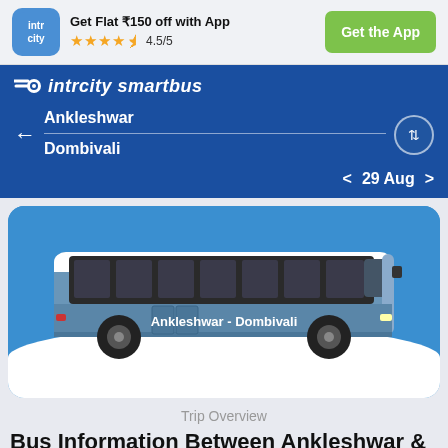Get Flat ₹150 off with App | ★★★★½ 4.5/5 | Get the App
[Figure (screenshot): IntrCity SmartBus app navigation bar showing route from Ankleshwar to Dombivali on 29 Aug]
[Figure (illustration): Blue intercity bus illustration with text 'Ankleshwar - Dombivali' on a blue background with white wave]
Trip Overview
Bus Information Between Ankleshwar &